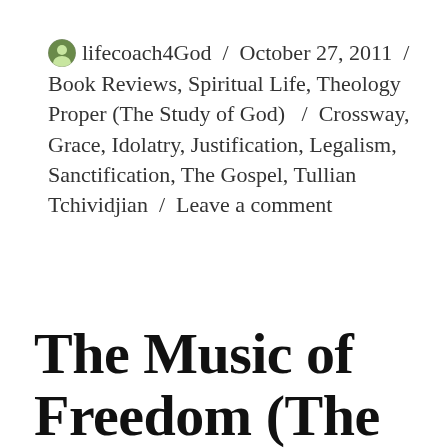lifecoach4God / October 27, 2011 / Book Reviews, Spiritual Life, Theology Proper (The Study of God) / Crossway, Grace, Idolatry, Justification, Legalism, Sanctification, The Gospel, Tullian Tchividjian / Leave a comment
The Music of Freedom (The